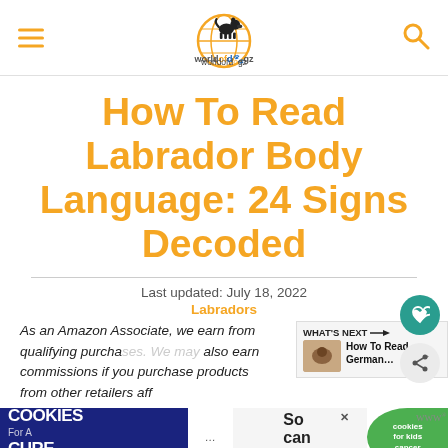worldofdogz — navigation header with menu and search icons
How To Read Labrador Body Language: 24 Signs Decoded
Last updated: July 18, 2022
Labradors
As an Amazon Associate, we earn from qualifying purchases. We may also earn commissions if you purchase products from other retailers aff...
[Figure (screenshot): WHAT'S NEXT arrow label with thumbnail image and text: How To Read German...]
[Figure (screenshot): Advertisement banner: I Bake COOKIES For A CURE - Haldora, 11 Cancer Survivor / So can you! / cookies for kids cancer logo]
Alth...                    ith our